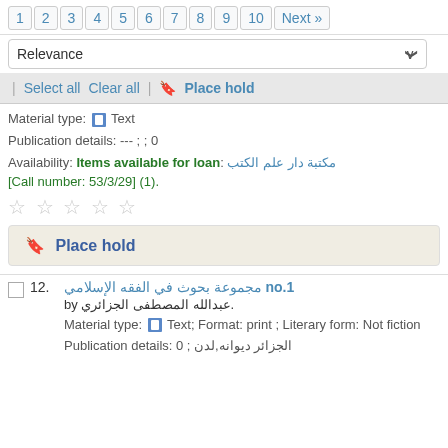1 2 3 4 5 6 7 8 9 10 Next »
Relevance
| Select all   Clear all   | Place hold
Material type: Text
Publication details: --- ; ; 0
Availability: Items available for loan: [location text] [Call number: 53/3/29] (1).
★★★★★
Place hold
12. [title in Arabic script] no.1
by [author in Arabic script].
Material type: Text; Format: print ; Literary form: Not fiction
Publication details: [publisher in Arabic script] ; 0